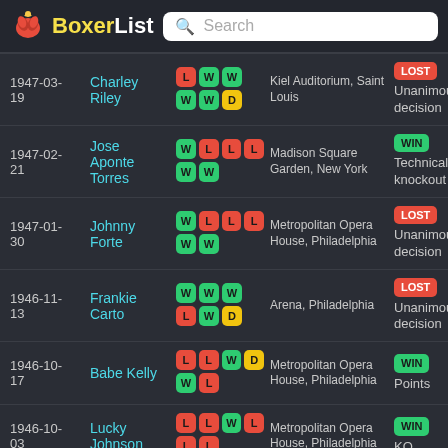BoxerList — Search
| Date | Opponent | Record | Venue | Result |
| --- | --- | --- | --- | --- |
| 1947-03-19 | Charley Riley | L W W / W W D | Kiel Auditorium, Saint Louis | LOST Unanimous decision |
| 1947-02-21 | Jose Aponte Torres | W L L L / W W | Madison Square Garden, New York | WIN Technical knockout |
| 1947-01-30 | Johnny Forte | W L L L / W W | Metropolitan Opera House, Philadelphia | LOST Unanimous decision |
| 1946-11-13 | Frankie Carto | W W W / L W D | Arena, Philadelphia | LOST Unanimous decision |
| 1946-10-17 | Babe Kelly | L L W D / W L | Metropolitan Opera House, Philadelphia | WIN Points |
| 1946-10-03 | Lucky Johnson | L L W L / L L | Metropolitan Opera House, Philadelphia | WIN KO |
|  |  |  | Convention | WIN |